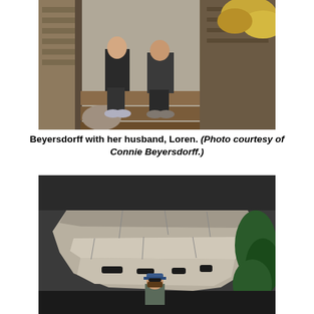[Figure (photo): Two people sitting on wooden porch steps of a house, wearing jeans and hiking shoes. Background shows wood siding, a railing, and autumn foliage.]
Beyersdorff with her husband, Loren. (Photo courtesy of Connie Beyersdorff.)
[Figure (photo): A person standing at the base of a large rocky cliff formation. The rocks are layered limestone or similar, with some greenery (ferns/cypress) on the right side. The person is wearing a cap and looking up.]